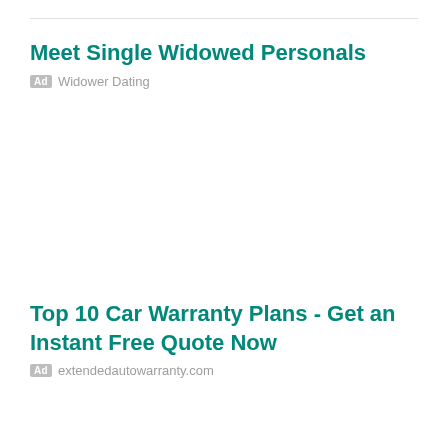Meet Single Widowed Personals
Ad  Widower Dating
Top 10 Car Warranty Plans - Get an Instant Free Quote Now
Ad  extendedautowarranty.com